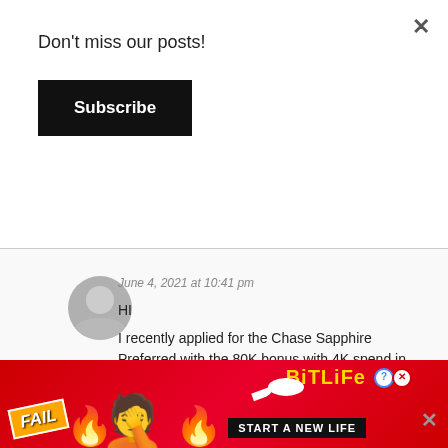Don't miss our posts!
Subscribe
June 4, 2021 at 10:41 pm
HI
I recently applied for the Chase Sapphire Preferred with the 80K bonus with 4K spend in first 3 months.
I'm within the 3 month period and saw that Chase recently changed its bonus to 100K points. Have you had any experience in getting them to match an upgraded points total?
[Figure (screenshot): Advertisement banner for BitLife mobile game with 'FAIL' text, cartoon character, flames, sperm icon, and 'START A NEW LIFE' tagline on red background]